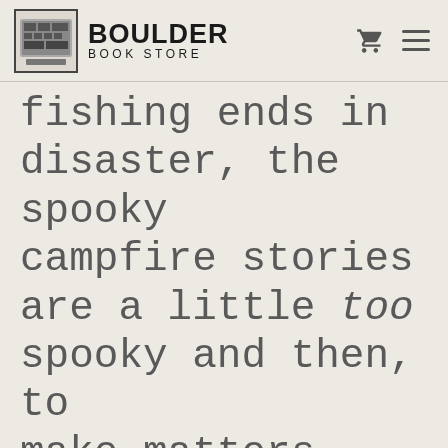BOULDER BOOK STORE
fishing ends in disaster, the spooky campfire stories are a little too spooky and then, to make matters